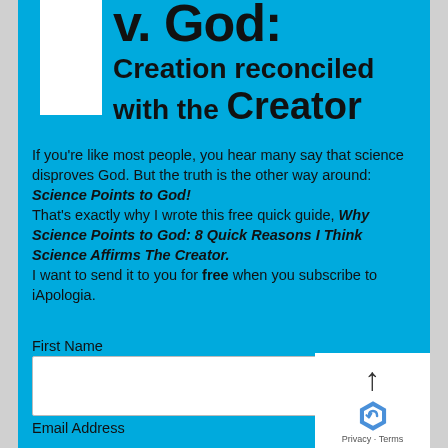v. God: Creation reconciled with the Creator
If you're like most people, you hear many say that science disproves God. But the truth is the other way around: Science Points to God! That's exactly why I wrote this free quick guide, Why Science Points to God: 8 Quick Reasons I Think Science Affirms The Creator. I want to send it to you for free when you subscribe to iApologia.
First Name
Email Address